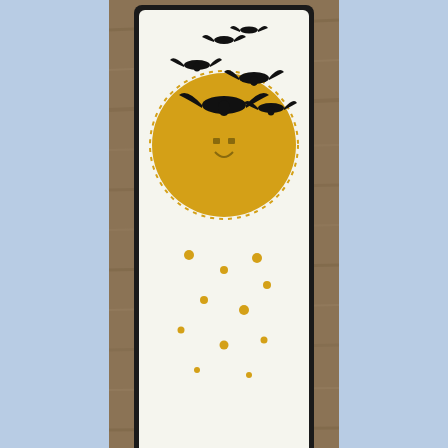[Figure (photo): A Halloween greeting card on a rustic wood background. The card features black silhouettes of flying bats over a golden/amber moon circle with stitched edging, on a cream/white card stock with a black border frame. Scattered yellow-gold dots appear below the moon. Watermark text reads 'crafted by Heather artfoxdesigns.com'.]
I started by stamping the Flying Bats (3047-F) in the top center area with black versafine ink and then heat embossing them with black embossing powder, which gives it an almost velvety look in person.  I then took Distress Oxide Inks in Fossilized Amber and Spiced Marmalade and using a piece of masking paper I cut a circle out and inked the center, my circle die had a stitched edging and I was not sure if I would like it, but when done I found that I liked that added detail of color and feel it gives it an original look.